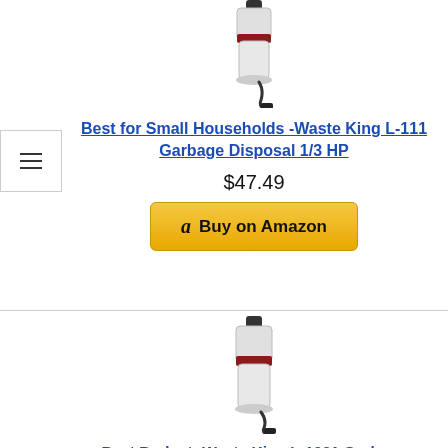[Figure (photo): Waste King L-111 garbage disposal unit product photo]
Best for Small Households -Waste King L-111 Garbage Disposal 1/3 HP
$47.49
[Figure (other): Buy on Amazon button with Amazon logo]
[Figure (photo): Waste King L-1001 garbage disposal unit product photo]
Best Budget -Waste King L-1001 Garbage Disposal with Power Cord, 1/2 HP
$44.99